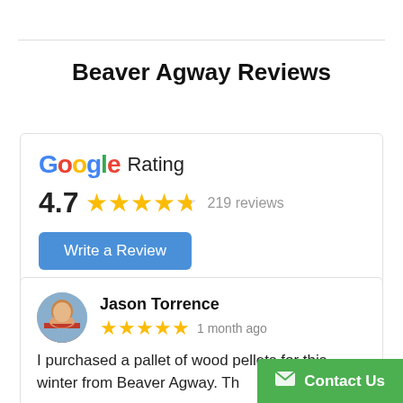Beaver Agway Reviews
[Figure (infographic): Google Rating card showing 4.7 stars, 219 reviews, and a Write a Review button]
[Figure (infographic): Review from Jason Torrence with 5 stars, 1 month ago, with text: I purchased a pallet of wood pellets for this winter from Beaver Agway. Th...]
[Figure (screenshot): Green Contact Us button in bottom right corner with envelope icon]